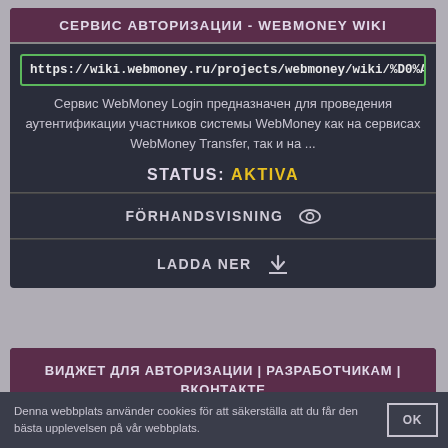СЕРВИС АВТОРИЗАЦИИ - WEBMONEY WIKI
https://wiki.webmoney.ru/projects/webmoney/wiki/%D0%A1%D0%B5
Сервис WebMoney Login предназначен для проведения аутентификации участников системы WebMoney как на сервисах WebMoney Transfer, так и на ...
STATUS: AKTIVA
FÖRHANDSVISNING
LADDA NER
ВИДЖЕТ ДЛЯ АВТОРИЗАЦИИ | РАЗРАБОТЧИКАМ | ВКОНТАКТЕ
Denna webbplats använder cookies för att säkerställa att du får den bästa upplevelsen på vår webbplats.